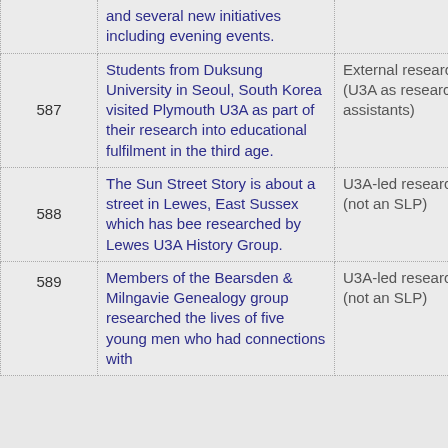| ID | Description | Type | Organisation |
| --- | --- | --- | --- |
|  | and several new initiatives including evening events. |  |  |
| 587 | Students from Duksung University in Seoul, South Korea visited Plymouth U3A as part of their research into educational fulfilment in the third age. | External research (U3A as research assistants) | Plymout… |
| 588 | The Sun Street Story is about a street in Lewes, East Sussex which has bee researched by Lewes U3A History Group. | U3A-led research (not an SLP) | Lewes U… |
| 589 | Members of the Bearsden & Milngavie Genealogy group researched the lives of five young men who had connections with… | U3A-led research (not an SLP) | Bearsde… Milngavi… |